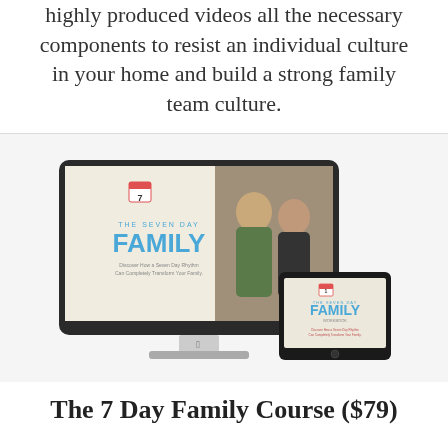highly produced videos all the necessary components to resist an individual culture in your home and build a strong family team culture.
[Figure (photo): A desktop iMac computer showing 'The Seven Day Family' course title screen with a couple smiling, alongside a tablet showing the Family Workbook.]
The 7 Day Family Course ($79)